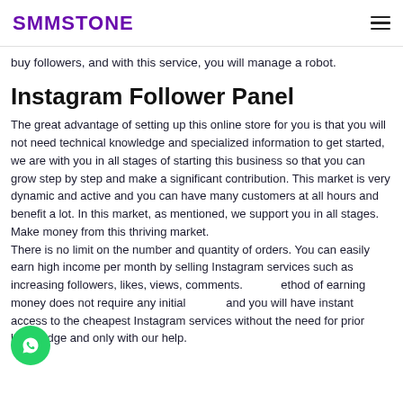SMMSTONE
buy followers, and with this service, you will manage a robot.
Instagram Follower Panel
The great advantage of setting up this online store for you is that you will not need technical knowledge and specialized information to get started, we are with you in all stages of starting this business so that you can grow step by step and make a significant contribution. This market is very dynamic and active and you can have many customers at all hours and benefit a lot. In this market, as mentioned, we support you in all stages. Make money from this thriving market.
There is no limit on the number and quantity of orders. You can easily earn high income per month by selling Instagram services such as increasing followers, likes, views, comments. This method of earning money does not require any initial capital and you will have instant access to the cheapest Instagram services without the need for prior knowledge and only with our help.